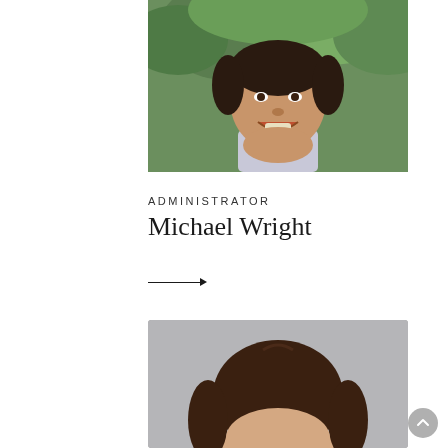[Figure (photo): Headshot photo of Michael Wright, a man smiling, wearing a checked button-up shirt, with green trees in the background.]
Administrator
Michael Wright
[Figure (photo): Partial headshot photo of a woman with dark brown hair, gray background, showing only top of head and hair.]